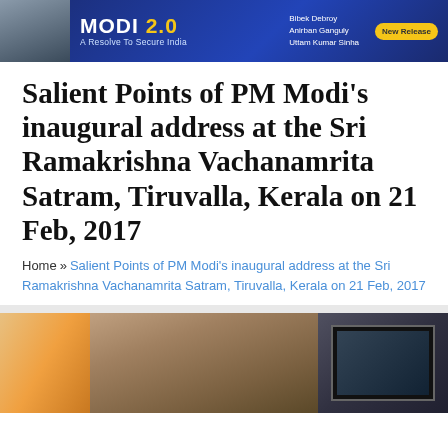[Figure (other): Banner advertisement for 'Modi 2.0 - A Resolve To Secure India' book by Bibek Debroy, Anirban Ganguly, Uttam Kumar Sinha. New Release badge visible.]
Salient Points of PM Modi's inaugural address at the Sri Ramakrishna Vachanamrita Satram, Tiruvalla, Kerala on 21 Feb, 2017
Home » Salient Points of PM Modi's inaugural address at the Sri Ramakrishna Vachanamrita Satram, Tiruvalla, Kerala on 21 Feb, 2017
[Figure (photo): Photograph of PM Modi at an event, with a TV screen visible on the right side showing a crowd or event footage.]